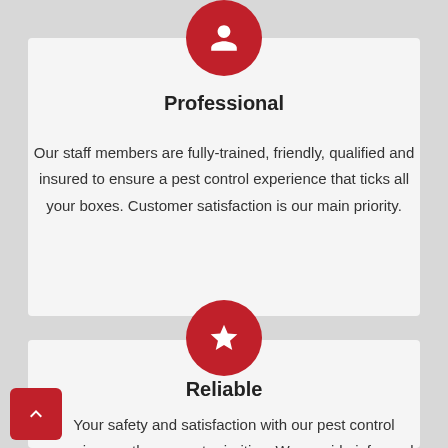[Figure (illustration): Red circle with white person/user icon, centered above Professional card]
Professional
Our staff members are fully-trained, friendly, qualified and insured to ensure a pest control experience that ticks all your boxes. Customer satisfaction is our main priority.
[Figure (illustration): Red circle with white star icon, centered above Reliable card]
Reliable
Your safety and satisfaction with our pest control service are the upmost priorities. We provide informed